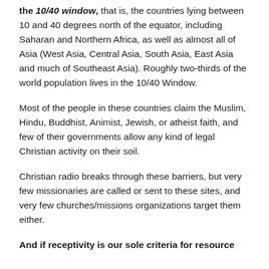the 10/40 window, that is, the countries lying between 10 and 40 degrees north of the equator, including Saharan and Northern Africa, as well as almost all of Asia (West Asia, Central Asia, South Asia, East Asia and much of Southeast Asia). Roughly two-thirds of the world population lives in the 10/40 Window.
Most of the people in these countries claim the Muslim, Hindu, Buddhist, Animist, Jewish, or atheist faith, and few of their governments allow any kind of legal Christian activity on their soil.
Christian radio breaks through these barriers, but very few missionaries are called or sent to these sites, and very few churches/missions organizations target them either.
And if receptivity is our sole criteria for resource